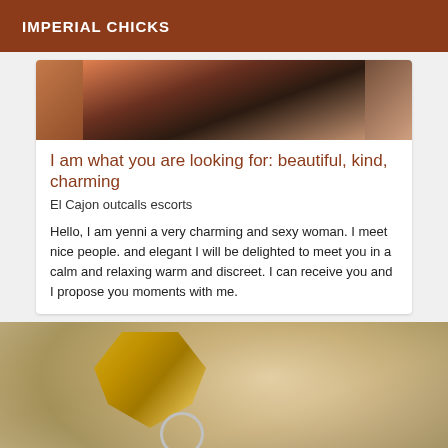IMPERIAL CHICKS
[Figure (photo): Partial photo of a person, cropped at top of card]
I am what you are looking for: beautiful, kind, charming
El Cajon outcalls escorts
Hello, I am yenni a very charming and sexy woman. I meet nice people. and elegant I will be delighted to meet you in a calm and relaxing warm and discreet. I can receive you and I propose you moments with me.
[Figure (photo): Close-up photo of a woman with blonde hair wearing a gold accessory/top and silver ring chain jewelry]